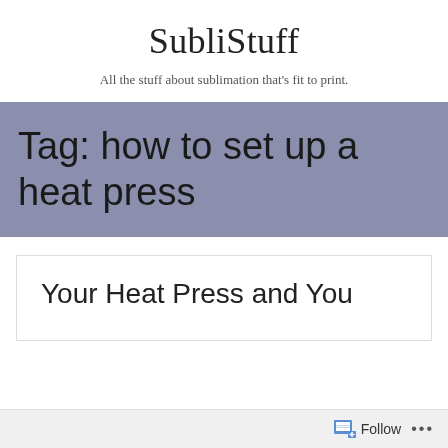SubliStuff
All the stuff about sublimation that's fit to print.
Tag: how to set up a heat press
Your Heat Press and You
Follow ...